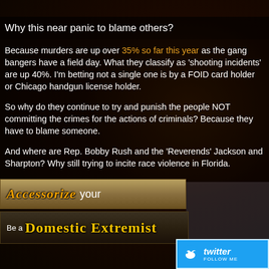Why this near panic to blame others?
Because murders are up over 35% so far this year as the gang bangers have a field day. What they classify as 'shooting incidents' are up 40%. I'm betting not a single one is by a FOID card holder or Chicago handgun license holder.
So why do they continue to try and punish the people NOT committing the crimes for the actions of criminals? Because they have to blame someone.
And where are Rep. Bobby Rush and the 'Reverends' Jackson and Sharpton? Why still trying to incite race violence in Florida.
[Figure (illustration): Banner reading 'Accessorize your']
[Figure (illustration): Banner reading 'Be a Domestic Extremist']
[Figure (logo): Twitter follow button with bird logo]